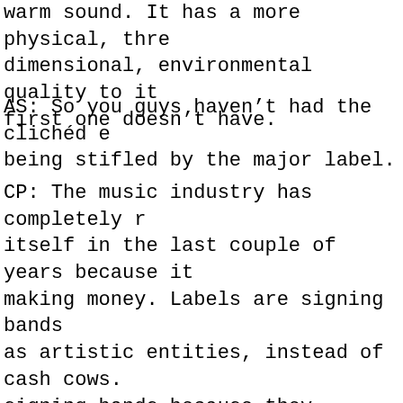warm sound. It has a more physical, three-dimensional, environmental quality to it the first one doesn't have.
AS: So you guys haven't had the clichéd experience of being stifled by the major label.
CP: The music industry has completely reinvented itself in the last couple of years because it stopped making money. Labels are signing bands as artistic entities, instead of cash cows. They're signing bands because they believe that they have tastes beyond anything they could make themselves. So far, they've trusted us with everything.